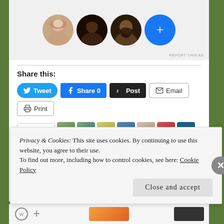[Figure (illustration): Social media ad with three circular profile photos (woman, Black woman, man with beard) and a blue plus-circle button on gray background. Small 'REPORT THIS AD' text at bottom right.]
Share this:
Tweet  Share 0  Post  Email  Print
[Figure (illustration): Like button and row of 10 small blogger avatar thumbnails]
19 bloggers like this.
Related
Related article preview text (partially cut off)
Privacy & Cookies: This site uses cookies. By continuing to use this website, you agree to their use.
To find out more, including how to control cookies, see here: Cookie Policy
Close and accept